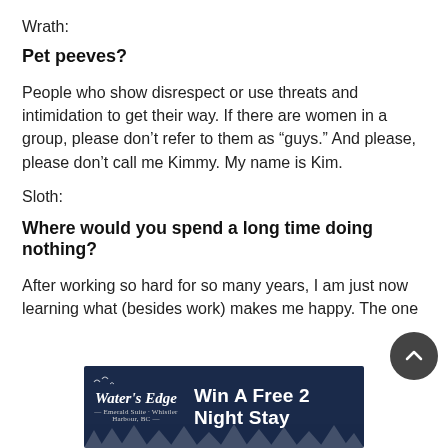Wrath:
Pet peeves?
People who show disrespect or use threats and intimidation to get their way. If there are women in a group, please don’t refer to them as “guys.” And please, please don’t call me Kimmy. My name is Kim.
Sloth:
Where would you spend a long time doing nothing?
After working so hard for so many years, I am just now learning what (besides work) makes me happy. The one
[Figure (other): Advertisement banner: Water's Edge resort ad reading 'Win A Free 2 Night Stay' on dark navy background with tree silhouette]